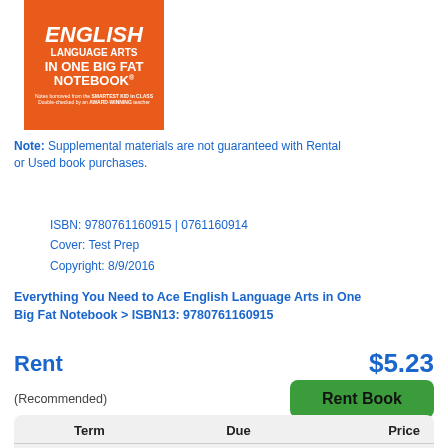[Figure (illustration): Book cover: English Language Arts In One Big Fat Notebook, orange cover with white text]
Note: Supplemental materials are not guaranteed with Rental or Used book purchases.
ISBN: 9780761160915 | 0761160914
Cover: Test Prep
Copyright: 8/9/2016
Everything You Need to Ace English Language Arts in One Big Fat Notebook > ISBN13: 9780761160915
Rent   $5.23
(Recommended)   Rent Book
|  | Term | Due | Price |
| --- | --- | --- | --- |
| ● | Semester | Dec 16 | $5.23 |
| ○ | Quarter | Nov 20 | $5.14 |
| ○ | Short Term | Oct 21 | $5.14 |